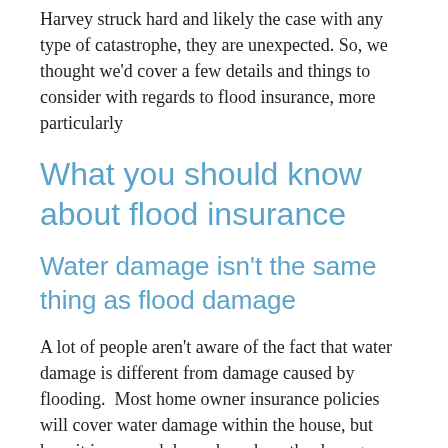Harvey struck hard and likely the case with any type of catastrophe, they are unexpected. So, we thought we'd cover a few details and things to consider with regards to flood insurance, more particularly
What you should know about flood insurance
Water damage isn't the same thing as flood damage
A lot of people aren't aware of the fact that water damage is different from damage caused by flooding.  Most home owner insurance policies will cover water damage within the house, but how it is covered depends on how the damage occurred. To most home owners, water damage is water damage, but insurance agencies see the damage and its cause